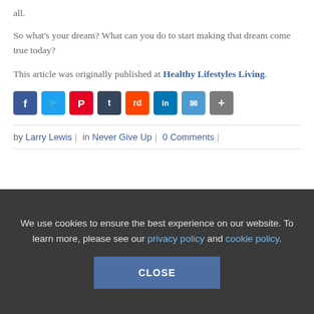all.
So what's your dream? What can you do to start making that dream come true today?
This article was originally published at Healthy Lifestyles Living.
[Figure (infographic): Social sharing icon buttons: Facebook (blue), Twitter (light blue), Pinterest (red), Tumblr (dark blue), Reddit (orange), LinkedIn (blue), Email (blue), Share (grey)]
by Larry Lewis | in Never Give Up | 0 Comments |
[Figure (photo): Partial image showing Work-Life Balance Out Of Sync text with two people]
We use cookies to ensure the best experience on our website. To learn more, please see our privacy policy and cookie policy.
CLOSE